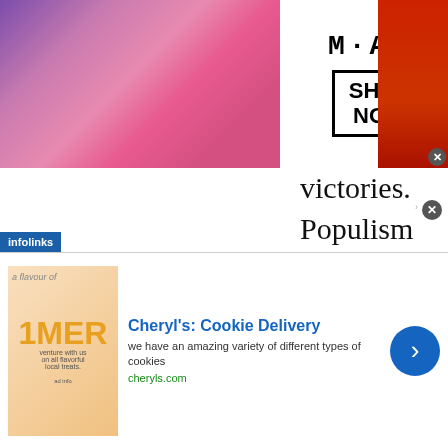[Figure (photo): MAC Cosmetics advertisement banner with colorful lipsticks on left, MAC logo in center, SHOP NOW box, and red lipstick on right with infolinks badge]
victories. Populism fueled the insurgency campaigns of Buchanan and Perot, the election of George W. Bush, and the Tea Party rallies of the Obama presidency. But a political novice—a Manhattan billionaire—proved to be the movement's most vocal champion. This is the inside story of his victory
[Figure (photo): Cheryl's Cookie Delivery advertisement with cookie product image on left, title and description text, cheryls.com URL, and blue arrow button on right]